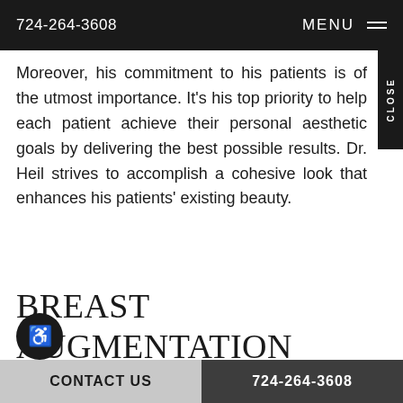724-264-3608   MENU
Moreover, his commitment to his patients is of the utmost importance. It's his top priority to help each patient achieve their personal aesthetic goals by delivering the best possible results. Dr. Heil strives to accomplish a cohesive look that enhances his patients' existing beauty.
BREAST AUGMENTATION AT PREMIER PLASTIC GERY
CONTACT US   724-264-3608